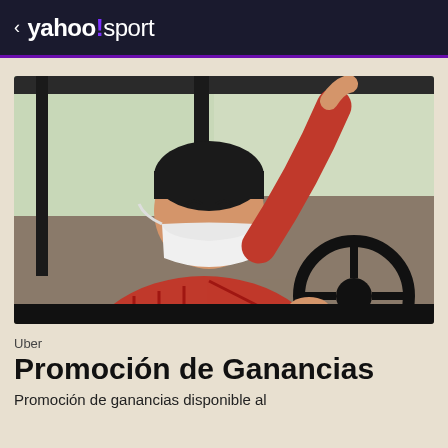< yahoo!sport
[Figure (photo): A man wearing a red plaid shirt and a white N95/KN95 face mask sitting in the driver's seat of a car, smiling at the camera with one hand on the steering wheel and the other raised toward the car roof/door frame. The background shows greenery through the car window.]
Uber
Promoción de Ganancias
Promoción de ganancias disponible al